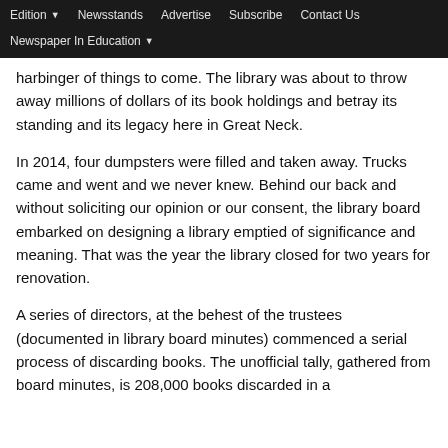Edition  Newsstands  Advertise  Subscribe  Contact Us  Newspaper In Education
harbinger of things to come. The library was about to throw away millions of dollars of its book holdings and betray its standing and its legacy here in Great Neck.
In 2014, four dumpsters were filled and taken away. Trucks came and went and we never knew. Behind our back and without soliciting our opinion or our consent, the library board embarked on designing a library emptied of significance and meaning. That was the year the library closed for two years for renovation.
A series of directors, at the behest of the trustees (documented in library board minutes) commenced a serial process of discarding books. The unofficial tally, gathered from board minutes, is 208,000 books discarded in a